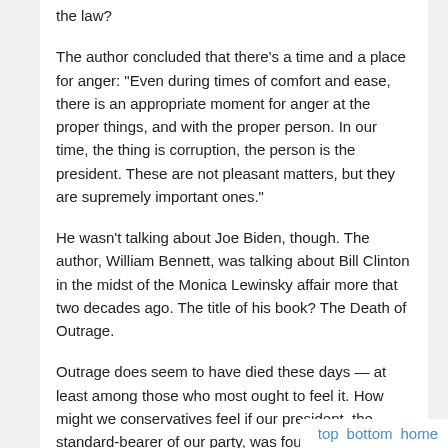the law?
The author concluded that there’s a time and a place for anger: “Even during times of comfort and ease, there is an appropriate moment for anger at the proper things, and with the proper person. In our time, the thing is corruption, the person is the president. These are not pleasant matters, but they are supremely important ones."
He wasn’t talking about Joe Biden, though. The author, William Bennett, was talking about Bill Clinton in the midst of the Monica Lewinsky affair more that two decades ago. The title of his book? The Death of Outrage.
Outrage does seem to have died these days — at least among those who most ought to feel it. How might we conservatives feel if our president, the standard-bearer of our party, was found to have received some $31 million from our foremost geopolitical foe and the greatest threat we face to the American way of life? Because that’s app[roximately] what Joe Biden and his family have re[ceived...]
top   bottom   home